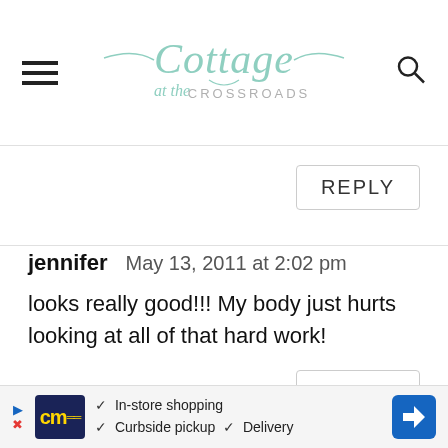Cottage at the Crossroads
REPLY
jennifer   May 13, 2011 at 2:02 pm
looks really good!!! My body just hurts looking at all of that hard work!
REPLY
[Figure (infographic): Advertisement banner: cm logo, In-store shopping, Curbside pickup, Delivery, navigation arrow icon]